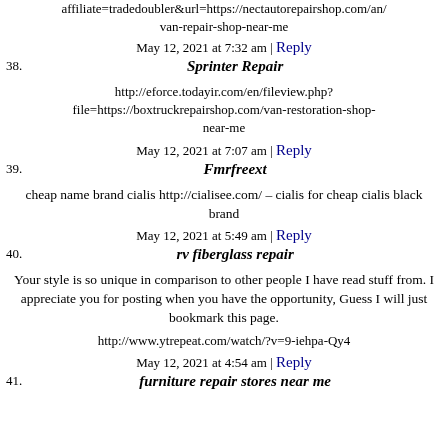affiliate=tradedoubler&url=https://nectautorepairshop.com/an/van-repair-shop-near-me
May 12, 2021 at 7:32 am | Reply
38. Sprinter Repair
http://eforce.todayir.com/en/fileview.php?file=https://boxtruckrepairshop.com/van-restoration-shop-near-me
May 12, 2021 at 7:07 am | Reply
39. Fmrfreext
cheap name brand cialis http://cialisee.com/ – cialis for cheap cialis black brand
May 12, 2021 at 5:49 am | Reply
40. rv fiberglass repair
Your style is so unique in comparison to other people I have read stuff from. I appreciate you for posting when you have the opportunity, Guess I will just bookmark this page.
http://www.ytrepeat.com/watch/?v=9-iehpa-Qy4
May 12, 2021 at 4:54 am | Reply
41. furniture repair stores near me